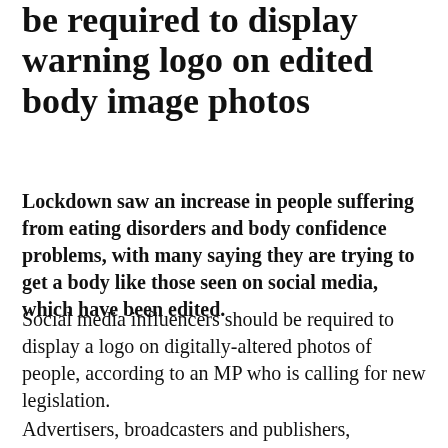be required to display warning logo on edited body image photos
Lockdown saw an increase in people suffering from eating disorders and body confidence problems, with many saying they are trying to get a body like those seen on social media, which have been edited.
Social media influencers should be required to display a logo on digitally-altered photos of people, according to an MP who is calling for new legislation.
Advertisers, broadcasters and publishers, including bodies being misht me to earsid